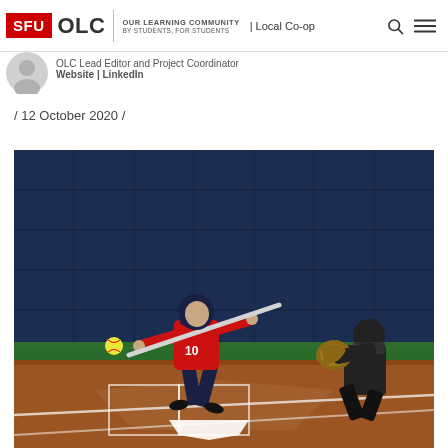SFU OLC | OUR LEARNING COMMUNITY | BY STUDENTS, FOR STUDENTS | Local Co-op
[Figure (logo): SFU OLC logo with red SFU box and OLC text with tagline 'Our Learning Community, By Students, For Students']
OLC Lead Editor and Project Coordinator
Website | LinkedIn
/ 12 October 2020 /
[Figure (photo): A softball player in a red jersey and navy pants swinging a bat at home plate, with a yellow softball visible in the air. A catcher in black and red is crouching to the right. The background shows a dark navy outfield wall. The field has a red dirt infield and green turf.]